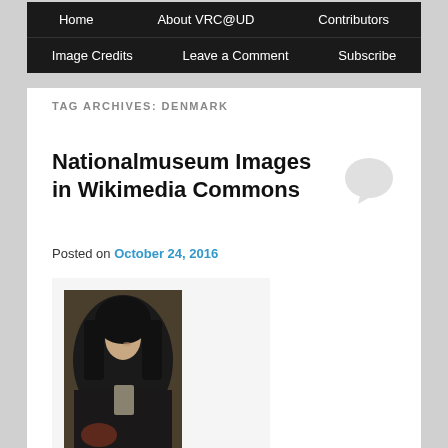Home   About VRC@UD   Contributors   Image Credits   Leave a Comment   Subscribe
TAG ARCHIVES: DENMARK
Nationalmuseum Images in Wikimedia Commons
Posted on October 24, 2016
[Figure (photo): Portrait painting of a woman in dark veil and clothing, smiling, holding something, classical style oil painting]